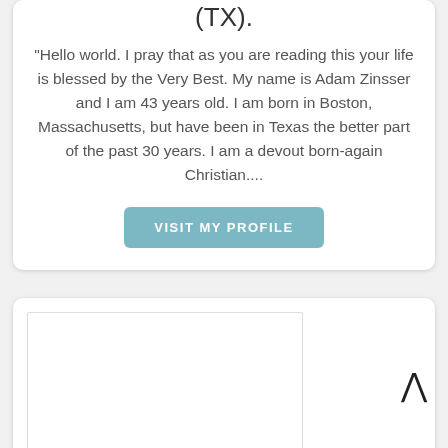(TX).
"Hello world. I pray that as you are reading this your life is blessed by the Very Best. My name is Adam Zinsser and I am 43 years old. I am born in Boston, Massachusetts, but have been in Texas the better part of the past 30 years. I am a devout born-again Christian....
VISIT MY PROFILE
[Figure (other): Empty white rectangle placeholder image inside a card]